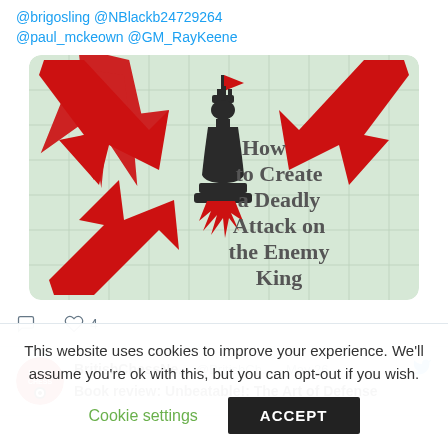@brigosling @NBlackb24729264 @paul_mckeown @GM_RayKeene
[Figure (illustration): Book cover showing chess king piece with red arrows pointing at it, titled 'How to Create a Deadly Attack on the Enemy King', on a light green grid background]
♡ 4
BritishChessNe... @BritishCh... · May 26
Book review: Unbeatable!: The Art of Defense
This website uses cookies to improve your experience. We'll assume you're ok with this, but you can opt-out if you wish.
Cookie settings
ACCEPT